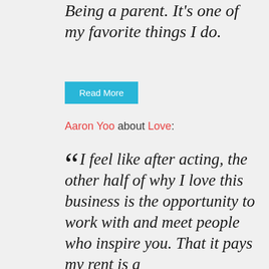Being a parent. It's one of my favorite things I do.
Read More
Aaron Yoo about Love:
“I feel like after acting, the other half of why I love this business is the opportunity to work with and meet people who inspire you. That it pays my rent is a